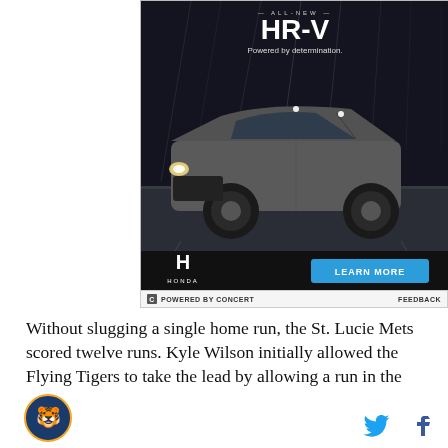[Figure (photo): Honda HR-V advertisement showing the All-New HR-V SUV driving at night with text 'Powered by determination.' Honda logo and 'LEARN MORE' button visible at bottom.]
POWERED BY CONCERT    FEEDBACK
Without slugging a single home run, the St. Lucie Mets scored twelve runs. Kyle Wilson initially allowed the Flying Tigers to take the lead by allowing a run in the
[Figure (logo): Sports team logo - circular emblem]
[Figure (logo): Twitter bird icon and Facebook f icon]